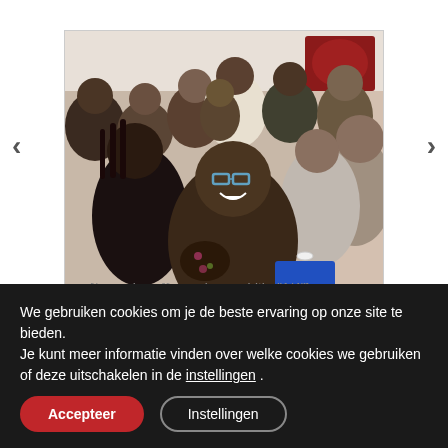[Figure (photo): Group selfie photo of approximately 15 smiling Black women in a bright room, one woman in the foreground wearing glasses taking the selfie, others gathered behind her. Navigation arrows visible on left and right sides of image.]
[/vc_column][vc_column width="1/4"]
[/vc_column][/vc_row][vc_row
css_animation="" row_type="row"
use_row_as_full_screen_section="no"
We gebruiken cookies om je de beste ervaring op onze site te bieden.
Je kunt meer informatie vinden over welke cookies we gebruiken of deze uitschakelen in de instellingen .
Accepteer
Instellingen